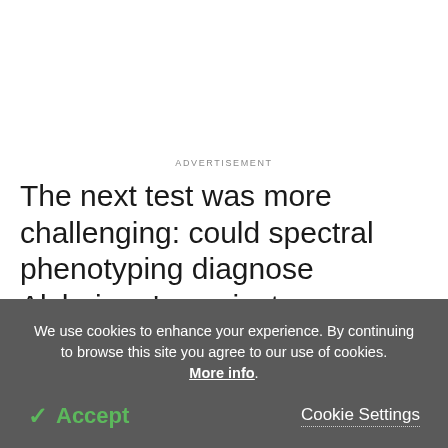ADVERTISEMENT
The next test was more challenging: could spectral phenotyping diagnose Alzheimer's against age-matched controls using easily accessible cells instead of brain cells? They chose fibroblasts, an extremely
We use cookies to enhance your experience. By continuing to browse this site you agree to our use of cookies. More info.
✓ Accept
Cookie Settings